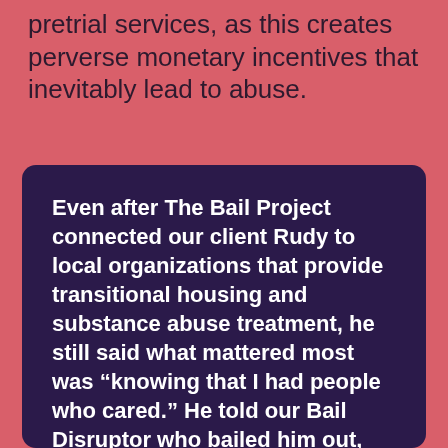pretrial services, as this creates perverse monetary incentives that inevitably lead to abuse.
Even after The Bail Project connected our client Rudy to local organizations that provide transitional housing and substance abuse treatment, he still said what mattered most was “knowing that I had people who cared.” He told our Bail Disruptor who bailed him out,